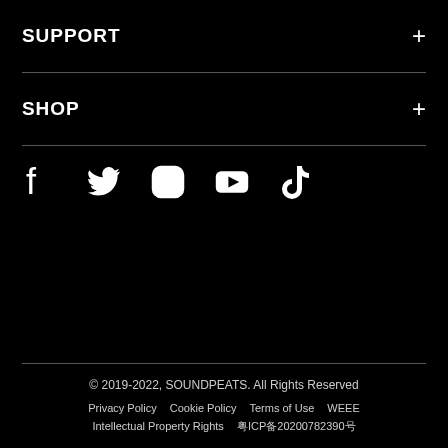SUPPORT
SHOP
[Figure (other): Social media icons row: Facebook, Twitter, Instagram, YouTube, TikTok]
© 2019-2022, SOUNDPEATS. All Rights Reserved
Privacy Policy  Cookie Policy  Terms of Use  WEEE
Intellectual Property Rights  粤ICP备20200782390号